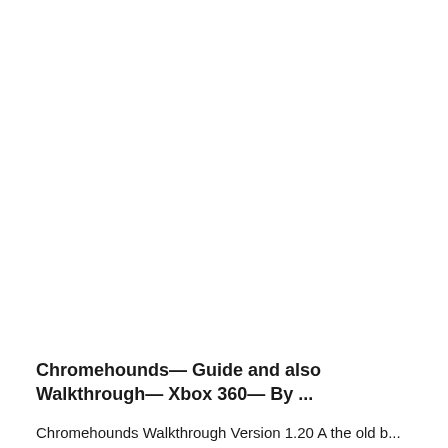Chromehounds— Guide and also Walkthrough— Xbox 360— By ...
Chromehounds Walkthrough Version 1.20 A the old b...